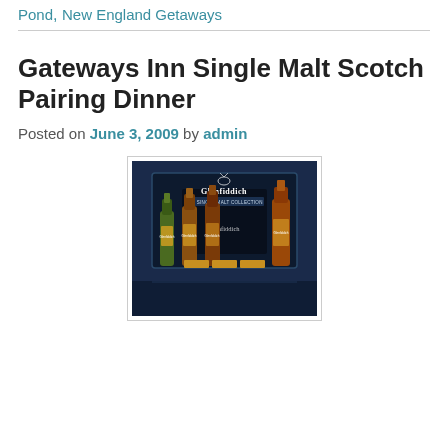Pond, New England Getaways
Gateways Inn Single Malt Scotch Pairing Dinner
Posted on June 3, 2009 by admin
[Figure (photo): Glenfiddich The Single Malt Collection display with multiple whisky bottles arranged in front of a dark display board, illuminated against a blue background.]